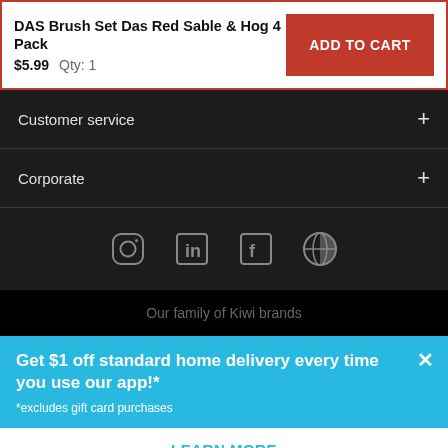DAS Brush Set Das Red Sable & Hog 4 Pack
$5.99   Qty: 1
ADD TO CART
Customer service
Corporate
[Figure (other): Social media icons: Instagram, LinkedIn, Facebook, and a globe/app icon]
Our family of Kiwi brands
Get $1 off standard home delivery every time you use our app!*
*excludes gift card purchases
LEARN MORE